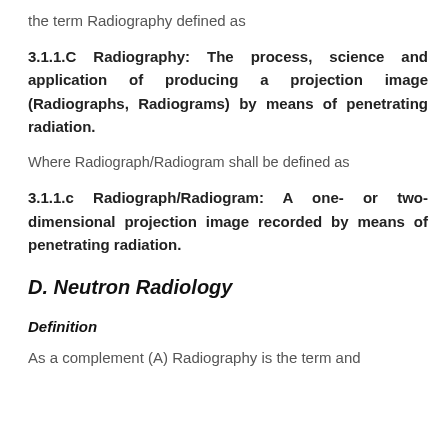the term Radiography defined as
3.1.1.C Radiography: The process, science and application of producing a projection image (Radiographs, Radiograms) by means of penetrating radiation.
Where Radiograph/Radiogram shall be defined as
3.1.1.c Radiograph/Radiogram: A one- or two-dimensional projection image recorded by means of penetrating radiation.
D. Neutron Radiology
Definition
As a complement (A) Radiography is the term and